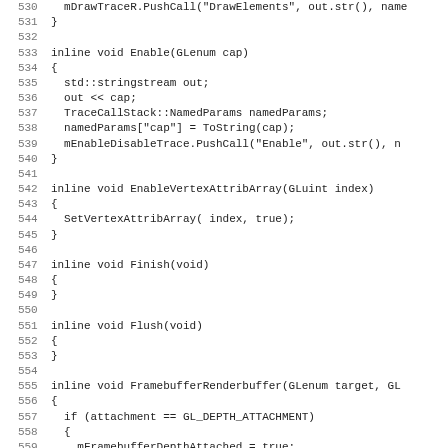Source code listing lines 530-562 showing C++ inline methods: Enable, EnableVertexAttribArray, Finish, Flush, FramebufferRenderbuffer